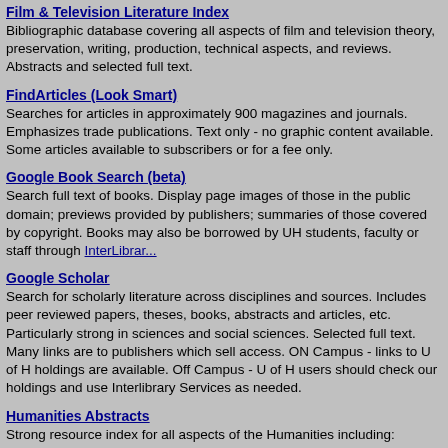Film & Television Literature Index
Bibliographic database covering all aspects of film and television theory, preservation, writing, production, technical aspects, and reviews. Abstracts and selected full text.
FindArticles (Look Smart)
Searches for articles in approximately 900 magazines and journals. Emphasizes trade publications. Text only - no graphic content available. Some articles available to subscribers or for a fee only.
Google Book Search (beta)
Search full text of books. Display page images of those in the public domain; previews provided by publishers; summaries of those covered by copyright. Books may also be borrowed by UH students, faculty or staff through InterLibrary...
Google Scholar
Search for scholarly literature across disciplines and sources. Includes peer reviewed papers, theses, books, abstracts and articles, etc. Particularly strong in sciences and social sciences. Selected full text. Many links are to publishers which sell access. ON Campus - links to U of H holdings are available. Off Campus - U of H users should check our holdings and use Interlibrary Services as needed.
Humanities Abstracts
Strong resource index for all aspects of the Humanities including: Archaeology, Area Studies, Art, Classical Studies, Communications, Dance, Film, Folklore, Gender Studies, History, Journalism, Linguistics, Literary & Social Criticism, Literature, Music, Performing Arts, Philosophy, Religion and Theology
JSTOR Arts and Sciences